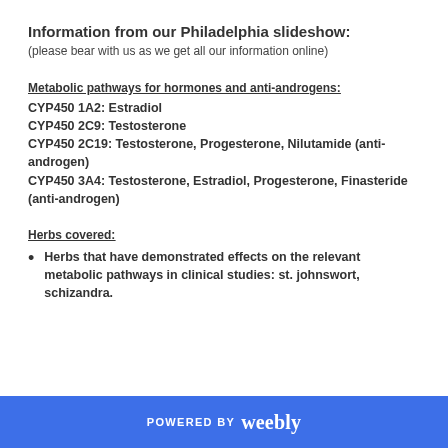Information from our Philadelphia slideshow:
(please bear with us as we get all our information online)
Metabolic pathways for hormones and anti-androgens:
CYP450 1A2: Estradiol
CYP450 2C9: Testosterone
CYP450 2C19: Testosterone, Progesterone, Nilutamide (anti-androgen)
CYP450 3A4: Testosterone, Estradiol, Progesterone, Finasteride (anti-androgen)
Herbs covered:
Herbs that have demonstrated effects on the relevant metabolic pathways in clinical studies: st. johnswort, schizandra.
POWERED BY weebly